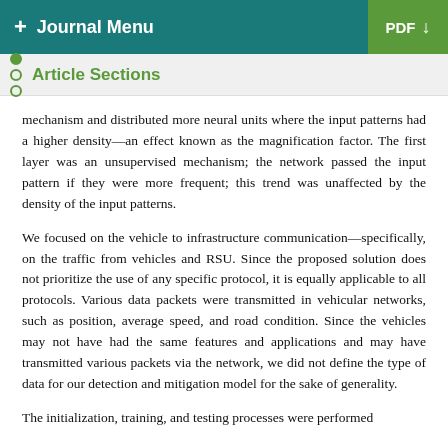+ Journal Menu   PDF ↓
Article Sections
mechanism and distributed more neural units where the input patterns had a higher density—an effect known as the magnification factor. The first layer was an unsupervised mechanism; the network passed the input pattern if they were more frequent; this trend was unaffected by the density of the input patterns.
We focused on the vehicle to infrastructure communication—specifically, on the traffic from vehicles and RSU. Since the proposed solution does not prioritize the use of any specific protocol, it is equally applicable to all protocols. Various data packets were transmitted in vehicular networks, such as position, average speed, and road condition. Since the vehicles may not have had the same features and applications and may have transmitted various packets via the network, we did not define the type of data for our detection and mitigation model for the sake of generality.
The initialization, training, and testing processes were performed